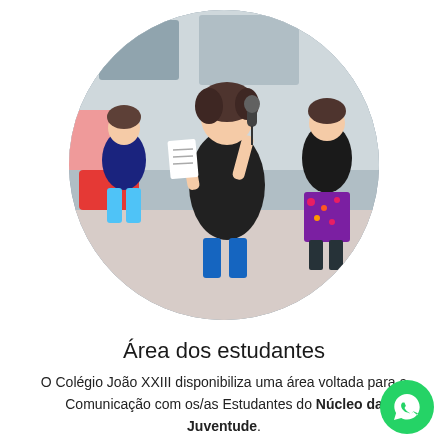[Figure (photo): Circular-cropped photo of three young women in a school setting; the central figure speaks into a microphone while holding papers, wearing a dark t-shirt; one girl sits on a red seat in the background to the left, another stands to the right in a floral outfit.]
Área dos estudantes
O Colégio João XXIII disponibiliza uma área voltada para a Comunicação com os/as Estudantes do Núcleo da Juventude.
Saiba Mais